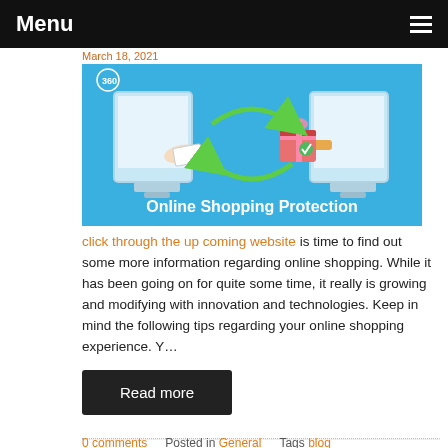Menu
March 18, 2021
[Figure (illustration): Online Shopping Protection illustration showing two computer monitors with hands exchanging a card and a gift box, with green arrows indicating a cycle, on a blue background. Text: Online Shopping Protection. Logo: 360 in top-left corner.]
click through the up coming website is time to find out some more information regarding online shopping. While it has been going on for quite some time, it really is growing and modifying with innovation and technologies. Keep in mind the following tips regarding your online shopping experience. Y…
Read more
0 comments   Posted in General   Tags blog